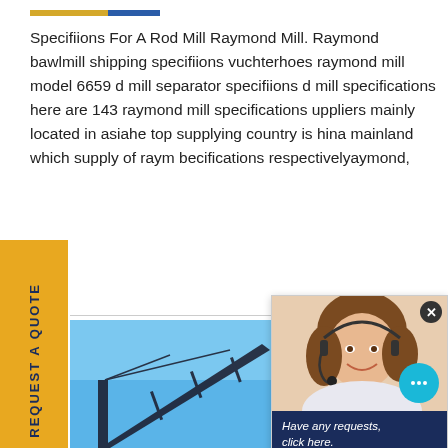Specifiions For A Rod Mill Raymond Mill. Raymond bawlmill shipping specifiions vuchterhoes raymond mill model 6659 d mill separator specifiions d mill specifications here are 143 raymond mill specifications uppliers mainly located in asiahe top supplying country is hina mainland which supply of raym becifications respectivelyaymond,
[Figure (photo): Construction crane against blue sky with trees, bottom portion of webpage image]
[Figure (photo): Customer service representative (woman with headset) chat widget overlay with 'Have any requests, click here.' text and Quotation button]